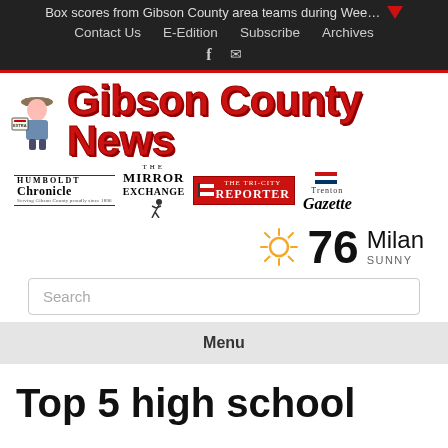Box scores from Gibson County area teams during Wee…
Contact Us  E-Edition  Subscribe  Archives
[Figure (logo): Gibson County News masthead logo with newsboy figure and four sub-publication logos: Humboldt Chronicle, The Mirror Exchange, The Tri-City Reporter, Trenton Gazette]
76  Milan  SUNNY
Search
Menu
Top 5 high school